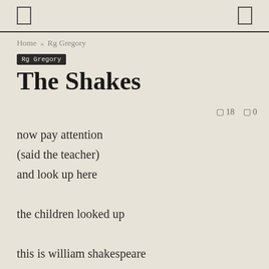[ icon ] [ icon ]
Home » Rg Gregory
Rg Gregory
The Shakes
18   0
now pay attention
(said the teacher)
and look up here

the children looked up

this is william shakespeare

four centuries up